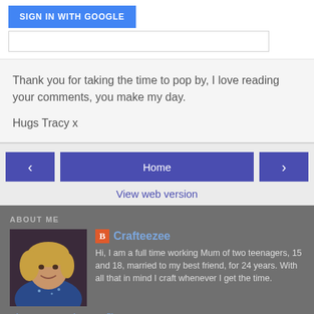[Figure (screenshot): Sign in with Google button (blue) and white comment box area]
Thank you for taking the time to pop by, I love reading your comments, you make my day.
Hugs Tracy x
[Figure (screenshot): Navigation bar with left arrow, Home button, and right arrow buttons in indigo/purple, plus View web version link below]
ABOUT ME
[Figure (photo): Profile photo of a woman with blonde hair wearing a blue top]
Crafteezee
Hi, I am a full time working Mum of two teenagers, 15 and 18, married to my best friend, for 24 years. With all that in mind I craft whenever I get the time.
View my complete profile
Powered by Blogger.